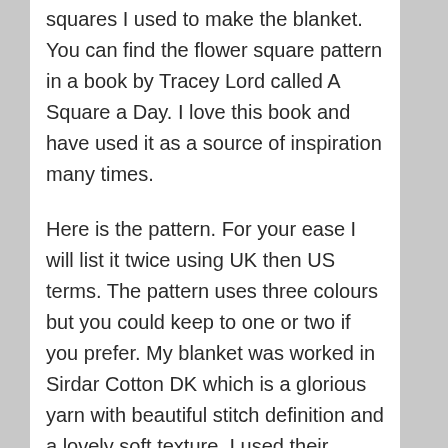squares I used to make the blanket. You can find the flower square pattern in a book by Tracey Lord called A Square a Day. I love this book and have used it as a source of inspiration many times.
Here is the pattern. For your ease I will list it twice using UK then US terms. The pattern uses three colours but you could keep to one or two if you prefer. My blanket was worked in Sirdar Cotton DK which is a glorious yarn with beautiful stitch definition and a lovely soft texture. I used their cream shade called Vanilla 502 for the background for the blanket.